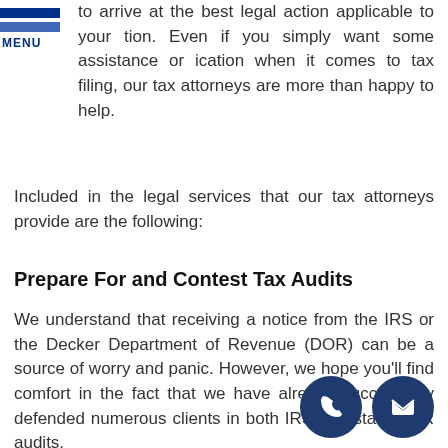MENU
to arrive at the best legal action applicable to your tion. Even if you simply want some assistance or ication when it comes to tax filing, our tax attorneys are more than happy to help.
Included in the legal services that our tax attorneys provide are the following:
Prepare For and Contest Tax Audits
We understand that receiving a notice from the IRS or the Decker Department of Revenue (DOR) can be a source of worry and panic. However, we hope you'll find comfort in the fact that we have already successfully defended numerous clients in both IRS and state DOR audits.
[Figure (illustration): Phone icon in dark blue circle]